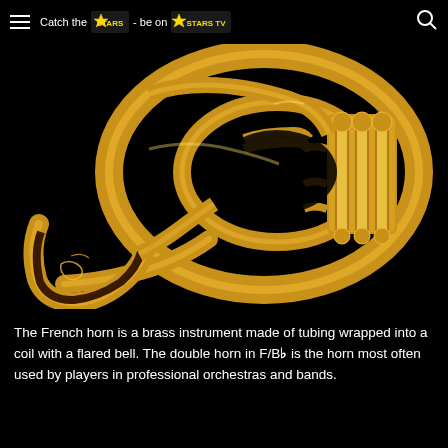Catch the STARS - be on STARS TV
[Figure (photo): A gold/brass French horn instrument photographed against a black background, showing the coiled tubing, valves, and flared bell.]
The French horn is a brass instrument made of tubing wrapped into a coil with a flared bell. The double horn in F/B♭ is the horn most often used by players in professional orchestras and bands.